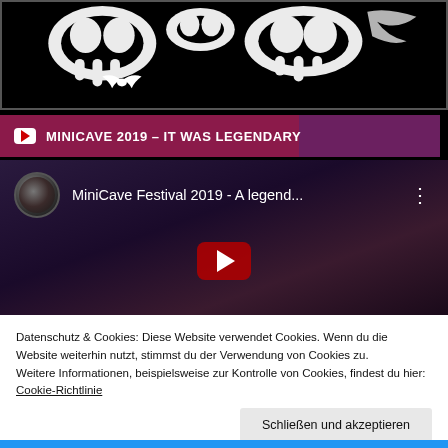[Figure (photo): Dark/black background image with white abstract graffiti-style lettering or skull-like artwork and a white bat silhouette, partially cropped at top]
MINICAVE 2019 – IT WAS LEGENDARY
[Figure (screenshot): YouTube video embed showing MiniCave Festival 2019 - A legend... with channel avatar, title, three-dot menu, and red play button overlay on dark purple background]
Datenschutz & Cookies: Diese Website verwendet Cookies. Wenn du die Website weiterhin nutzt, stimmst du der Verwendung von Cookies zu.
Weitere Informationen, beispielsweise zur Kontrolle von Cookies, findest du hier: Cookie-Richtlinie
Schließen und akzeptieren